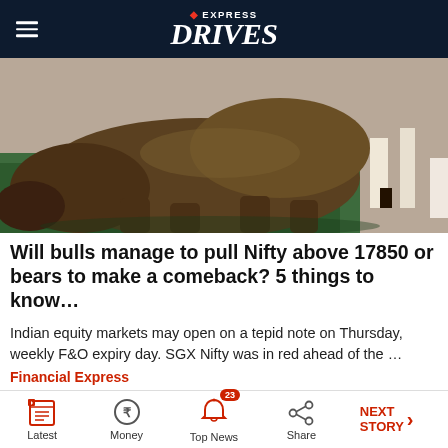EXPRESS DRIVES
[Figure (photo): Close-up photo of a bronze bull statue on a green surface, with people walking in the background]
Will bulls manage to pull Nifty above 17850 or bears to make a comeback? 5 things to know…
Indian equity markets may open on a tepid note on Thursday, weekly F&O expiry day. SGX Nifty was in red ahead of the …
Financial Express
[Figure (photo): Interior view of a car with a person visible, roof lining and rearview mirror visible]
Latest | Money | Top News 23 | Share | NEXT STORY